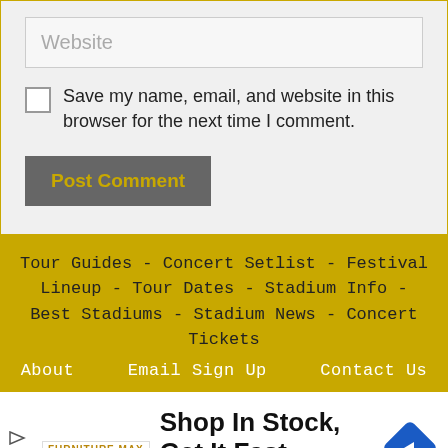Website
Save my name, email, and website in this browser for the next time I comment.
Post Comment
Tour Guides - Concert Setlist - Festival Lineup - Tour Dates - Stadium Info - Best Stadiums - Stadium News - Concert Tickets
About   Email Sign Up   Contact Us
[Figure (infographic): Advertisement for Furniture Max: logo on left, headline 'Shop In Stock, Get It Fast', subline 'Furniture Max' in blue, blue diamond navigation icon on right]
© Stadiums Hub 2023